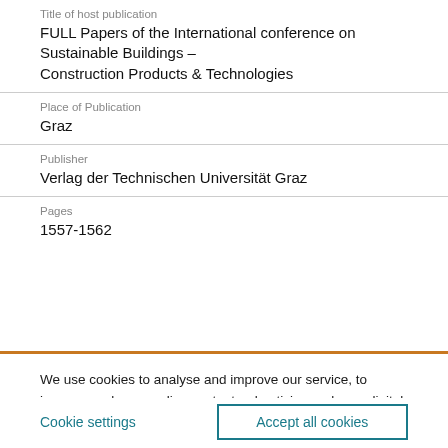Title of host publication
FULL Papers of the International conference on Sustainable Buildings – Construction Products & Technologies
Place of Publication
Graz
Publisher
Verlag der Technischen Universität Graz
Pages
1557-1562
We use cookies to analyse and improve our service, to improve and personalise content, advertising and your digital experience. We also share information about your use of our site with our social media, advertising and analytics partners.  Cookie Policy
Cookie settings
Accept all cookies